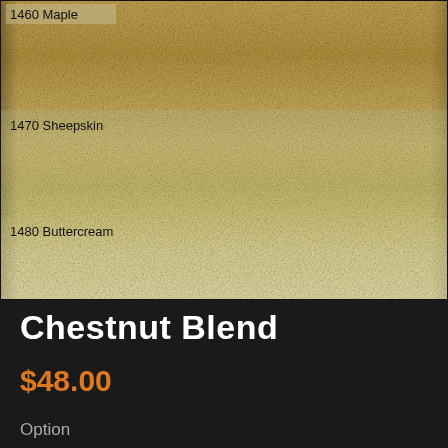[Figure (photo): Fabric swatches showing three color variants stacked vertically: 1460 Maple (golden/amber tan), 1470 Sheepskin (lighter warm tan), and 1480 Buttercream (very light cream/off-white). Each band is labeled in the upper-left corner with its color code and name.]
Chestnut Blend
$48.00
Option